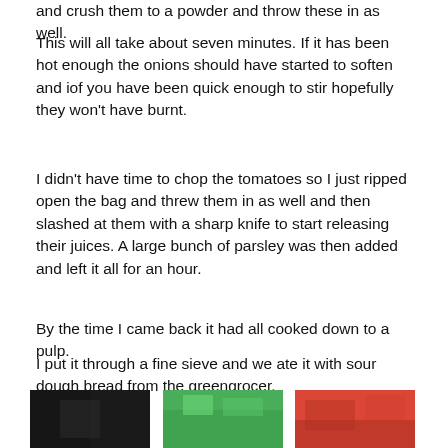and crush them to a powder and throw these in as well.
This will all take about seven minutes. If it has been hot enough the onions should have started to soften and iof you have been quick enough to stir hopefully they won’t have burnt.
I didn’t have time to chop the tomatoes so I just ripped open the bag and threw them in as well and then slashed at them with a sharp knife to start releasing their juices. A large bunch of parsley was then added and left it all for an hour.
By the time I came back it had all cooked down to a pulp.
I put it through a fine sieve and we ate it with sour dough bread from the greengrocer.
[Figure (photo): Three food photos side by side at the bottom of the page, partially cropped: a dark image on the left, a green herb/vegetable image in the center, and a red tomato/food image on the right.]